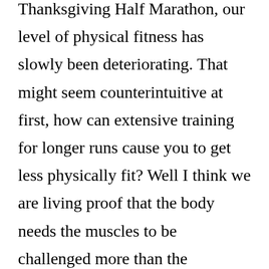Thanksgiving Half Marathon, our level of physical fitness has slowly been deteriorating. That might seem counterintuitive at first, how can extensive training for longer runs cause you to get less physically fit? Well I think we are living proof that the body needs the muscles to be challenged more than the cardiovascular system. The best shape we've ever been in was when we were doing bootcamp every morning, so we will be going back to bootcamp starting on January 11th. We will be going to the Ashford Park version